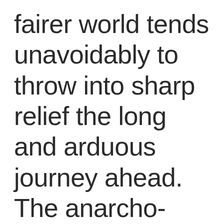fairer world tends unavoidably to throw into sharp relief the long and arduous journey ahead. The anarcho-communists terrified